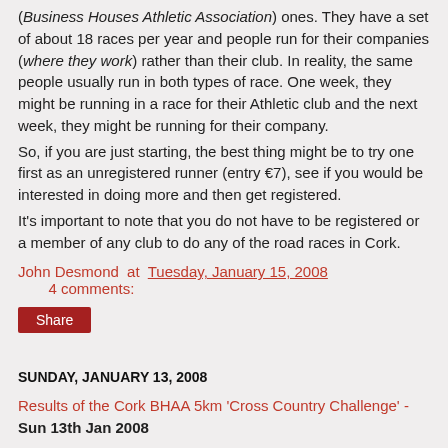(Business Houses Athletic Association) ones. They have a set of about 18 races per year and people run for their companies (where they work) rather than their club. In reality, the same people usually run in both types of race. One week, they might be running in a race for their Athletic club and the next week, they might be running for their company.
So, if you are just starting, the best thing might be to try one first as an unregistered runner (entry €7), see if you would be interested in doing more and then get registered.
It's important to note that you do not have to be registered or a member of any club to do any of the road races in Cork.
John Desmond at Tuesday, January 15, 2008    4 comments:
Share
SUNDAY, JANUARY 13, 2008
Results of the Cork BHAA 5km 'Cross Country Challenge' - Sun 13th Jan 2008
The heavy rain on the Saturday made sure that this BHAA 5km Cross Country race was going to be very wet and soft underfoot. And so it